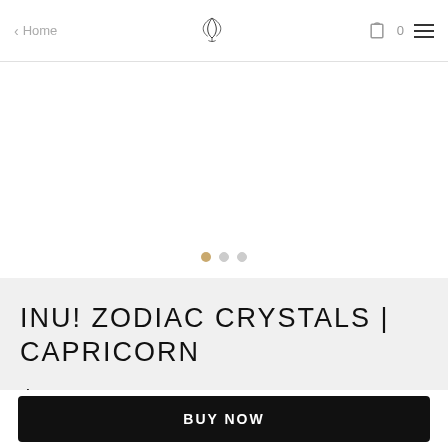< Home | INU! logo | 0 (cart) | menu
[Figure (other): Product image carousel area with three navigation dots below (first dot active in gold/tan, two inactive grey dots)]
INU! ZODIAC CRYSTALS | CAPRICORN
$18.00
BUY NOW